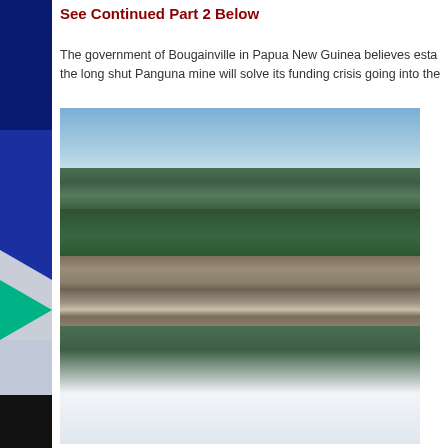See Continued Part 2 Below
The government of Bougainville in Papua New Guinea believes establishing the long shut Panguna mine will solve its funding crisis going into the...
[Figure (photo): Aerial photograph of the Panguna open-pit copper mine in Bougainville, Papua New Guinea, surrounded by forested mountains under a partly cloudy sky. The terraced open pit is visible in the lower right portion of the image, with green forest in the foreground and mountain ridgeline in the background.]